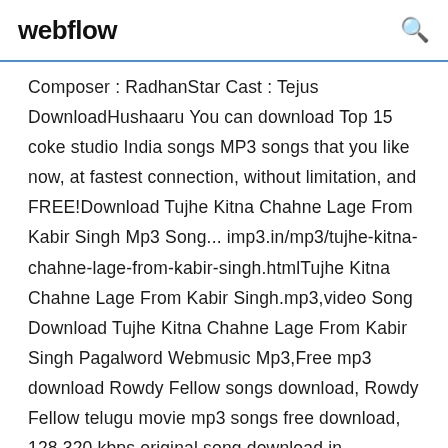webflow
Composer : RadhanStar Cast : Tejus DownloadHushaaru You can download Top 15 coke studio India songs MP3 songs that you like now, at fastest connection, without limitation, and FREE!Download Tujhe Kitna Chahne Lage From Kabir Singh Mp3 Song... imp3.in/mp3/tujhe-kitna-chahne-lage-from-kabir-singh.htmlTujhe Kitna Chahne Lage From Kabir Singh.mp3,video Song Download Tujhe Kitna Chahne Lage From Kabir Singh Pagalword Webmusic Mp3,Free mp3 download Rowdy Fellow songs download, Rowdy Fellow telugu movie mp3 songs free download, 128 320 kbps original song download in teluguwap, naa songs, doregama, sensongsFunmaza HD Music